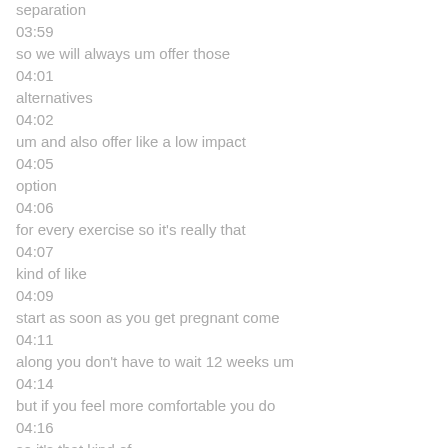separation
03:59
so we will always um offer those
04:01
alternatives
04:02
um and also offer like a low impact
04:05
option
04:06
for every exercise so it's really that
04:07
kind of like
04:09
start as soon as you get pregnant come
04:11
along you don't have to wait 12 weeks um
04:14
but if you feel more comfortable you do
04:16
so it's that kind of